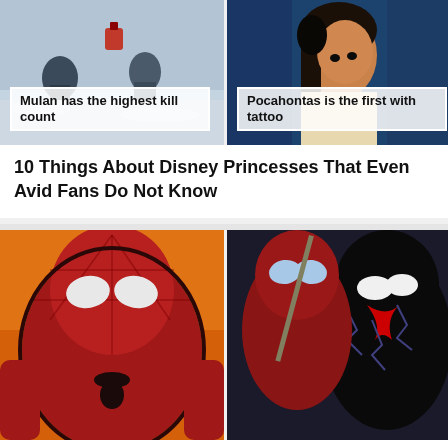[Figure (screenshot): Two Disney animation stills side by side. Left: Mulan scene in snow with overlay text 'Mulan has the highest kill count'. Right: Pocahontas scene with overlay text 'Pocahontas is the first with tattoo'.]
10 Things About Disney Princesses That Even Avid Fans Do Not Know
[Figure (photo): Two Spider-Man related movie images side by side. Left: Classic Tobey Maguire Spider-Man close-up. Right: Spider-Man and Venom face-off scene.]
“Spider-Man: No Way Home” Writers Explain The